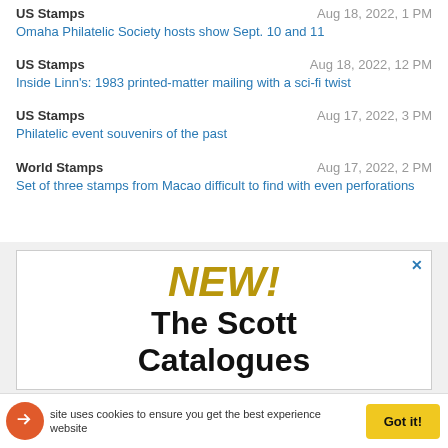US Stamps | Aug 18, 2022, 1 PM | Omaha Philatelic Society hosts show Sept. 10 and 11
US Stamps | Aug 18, 2022, 12 PM | Inside Linn's: 1983 printed-matter mailing with a sci-fi twist
US Stamps | Aug 17, 2022, 3 PM | Philatelic event souvenirs of the past
World Stamps | Aug 17, 2022, 2 PM | Set of three stamps from Macao difficult to find with even perforations
[Figure (screenshot): Advertisement banner reading NEW! The Scott Catalogues with a close button]
This site uses cookies to ensure you get the best experience on our website